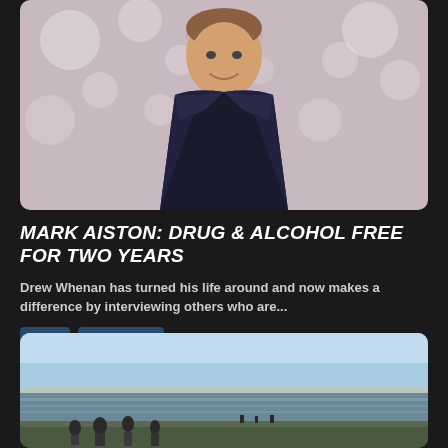[Figure (photo): Portrait photo of a man in a dark suit with a striped tie, smiling, against a bokeh background]
MARK AISTON: DRUG & ALCOHOL FREE FOR TWO YEARS
Drew Whenan has turned his life around and now makes a difference by interviewing others who are...
health
mental health
Read more: Mark Aiston:...
[Figure (photo): Outdoor photo showing people near water/ocean with a light blue sky]